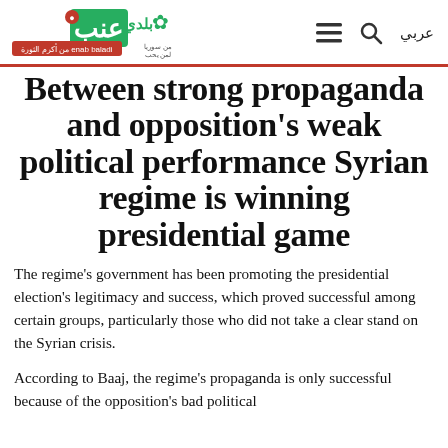enab balad — عربي
Between strong propaganda and opposition's weak political performance Syrian regime is winning presidential game
The regime's government has been promoting the presidential election's legitimacy and success, which proved successful among certain groups, particularly those who did not take a clear stand on the Syrian crisis.
According to Baaj, the regime's propaganda is only successful because of the opposition's bad political